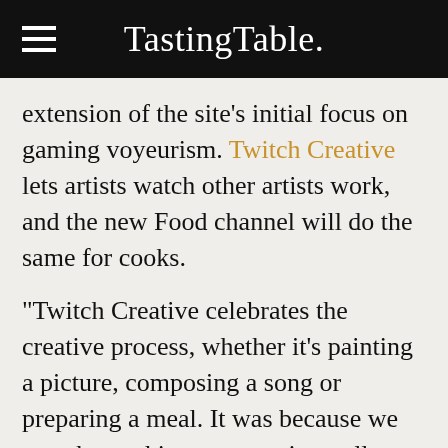Tasting Table.
extension of the site's initial focus on gaming voyeurism. Twitch Creative lets artists watch other artists work, and the new Food channel will do the same for cooks.
"Twitch Creative celebrates the creative process, whether it's painting a picture, composing a song or preparing a meal. It was because we saw the cooking community really start to take off that we were inspired to do the Julia Child marathon to shine a spotlight on the burgeoning phenomenon," Twitch's PR director tells us.